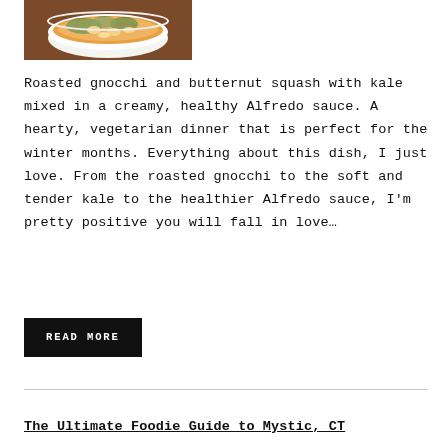[Figure (photo): A bowl of roasted gnocchi and butternut squash with kale in a creamy Alfredo sauce]
Roasted gnocchi and butternut squash with kale mixed in a creamy, healthy Alfredo sauce. A hearty, vegetarian dinner that is perfect for the winter months. Everything about this dish, I just love. From the roasted gnocchi to the soft and tender kale to the healthier Alfredo sauce, I'm pretty positive you will fall in love…
READ MORE
The Ultimate Foodie Guide to Mystic, CT